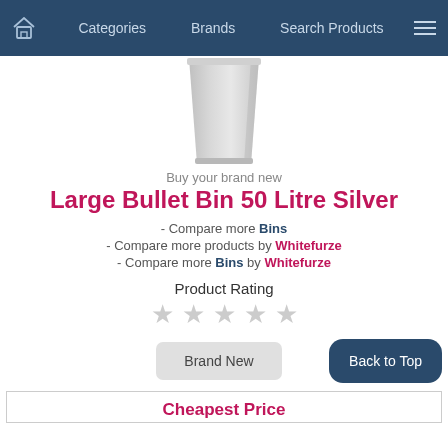Categories | Brands | Search Products
[Figure (photo): A large silver/grey cylindrical bullet bin, top portion visible, white background]
Buy your brand new
Large Bullet Bin 50 Litre Silver
- Compare more Bins
- Compare more products by Whitefurze
- Compare more Bins by Whitefurze
Product Rating
[Figure (other): Five empty/unfilled star rating icons in light grey]
Brand New
Back to Top
Cheapest Price